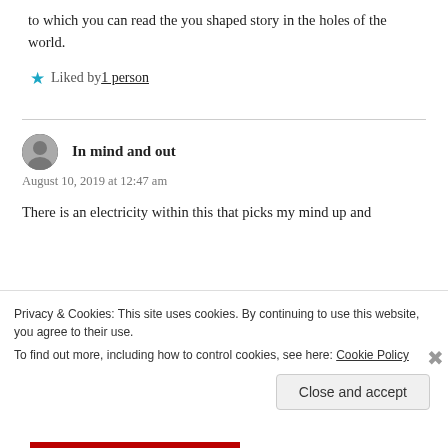to which you can read the you shaped story in the holes of the world.
★ Liked by 1 person
In mind and out
August 10, 2019 at 12:47 am
There is an electricity within this that picks my mind up and
Privacy & Cookies: This site uses cookies. By continuing to use this website, you agree to their use.
To find out more, including how to control cookies, see here: Cookie Policy